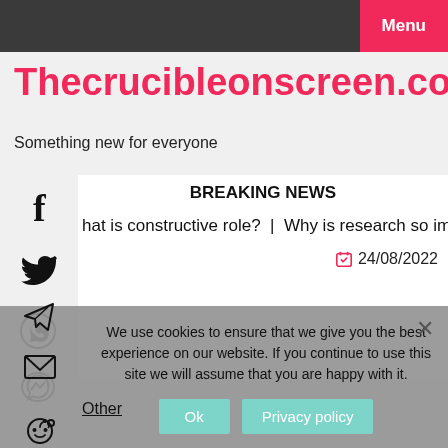Menu
Thecrucibleonscreen.com
Something new for everyone
BREAKING NEWS
hat is constructive role?  |  Why is research so important?  |
24/08/2022
We use cookies to ensure that we give you the best experience on our website. If you continue to use this site we will assume that you are happy with it.
Other
Ok
Privacy policy